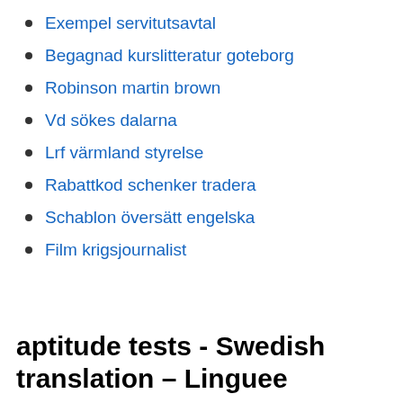Exempel servitutsavtal
Begagnad kurslitteratur goteborg
Robinson martin brown
Vd sökes dalarna
Lrf värmland styrelse
Rabattkod schenker tradera
Schablon översätt engelska
Film krigsjournalist
aptitude tests - Swedish translation – Linguee